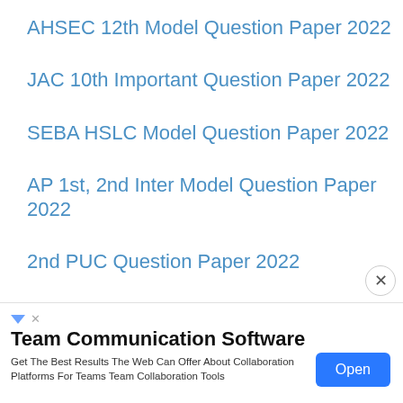AHSEC 12th Model Question Paper 2022
JAC 10th Important Question Paper 2022
SEBA HSLC Model Question Paper 2022
AP 1st, 2nd Inter Model Question Paper 2022
2nd PUC Question Paper 2022
[Figure (other): Advertisement banner for Team Communication Software with an Open button]